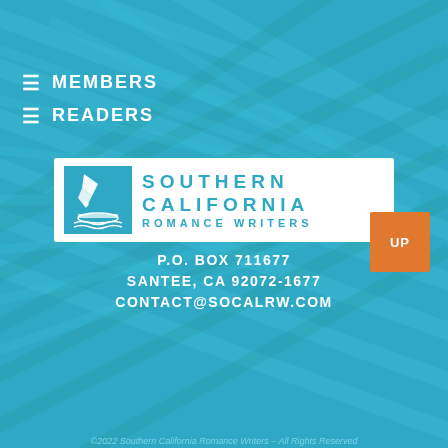≡ MEMBERS
≡ READERS
[Figure (logo): Southern California Romance Writers logo — pen-and-scroll icon on teal background with organization name in teal letters on white background]
P.O. BOX 711677
SANTEE, CA 92072-1677
CONTACT@SOCALRW.COM
©2022 Southern California Romance Writers – All Rights Reserved